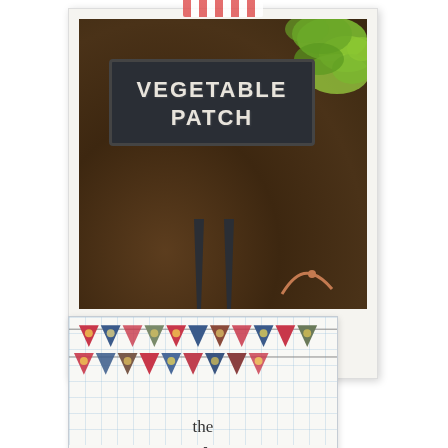[Figure (photo): Polaroid-style photo with red-white washi tape at top. Photo shows a chalkboard garden sign reading 'VEGETABLE PATCH' stuck in dark soil with green lettuce in background. Below photo in the white polaroid border is italic script text reading 'projects'.]
[Figure (illustration): Partial card with grid paper background showing colorful bunting/pennant flags in red, blue, and floral patterns strung in two rows. Below the flags is text reading 'the' and below that in large italic script 'Jattimore'.]